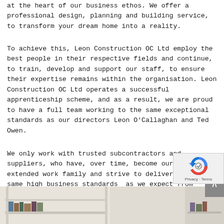at the heart of our business ethos. We offer a professional design, planning and building service, to transform your dream home into a reality.
To achieve this, Leon Construction OC Ltd employ the best people in their respective fields and continue, to train, develop and support our staff, to ensure their expertise remains within the organisation. Leon Construction OC Ltd operates a successful apprenticeship scheme, and as a result, we are proud to have a full team working to the same exceptional standards as our directors Leon O'Callaghan and Ted Owen.
We only work with trusted subcontractors and suppliers, who have, over time, become our extended work family and strive to deliver the same high business standards  as we expect from our own staff. Wherever possible we use local businesses and we continue to support and work within our community.
[Figure (photo): Interior photo showing white bookshelves with books and a room with warm lighting, partially visible at the bottom of the page.]